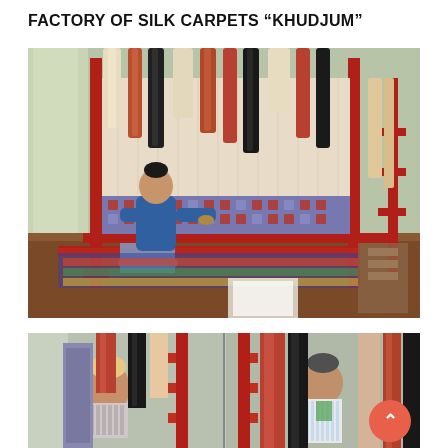FACTORY OF SILK CARPETS “KHUDJUM”
[Figure (photo): A worker sits on a low red-framed bed/platform and weaves a silk carpet on a large upright loom. Colorful bundles of silk thread in terracotta, black, cream, and rust hang from the top of the loom. A partially completed patterned carpet is visible at the bottom of the loom. Red wooden loom frames are visible in the background right. The room has curtained windows and a wooden floor.]
[Figure (photo): Two photos side by side: Left shows a child with light hair looking at carpet displays, red loom frame visible. Right shows a man in a striped shirt examining carpets hanging on display. Colorful striped and patterned carpets hang in the background.]